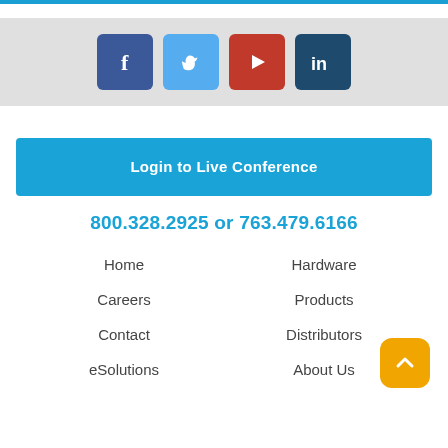[Figure (infographic): Social media icons row: Facebook (blue), Twitter (light blue), YouTube play button (red), LinkedIn (dark blue)]
Login to Live Conference
800.328.2925 or 763.479.6166
Home
Hardware
Careers
Products
Contact
Distributors
eSolutions
About Us